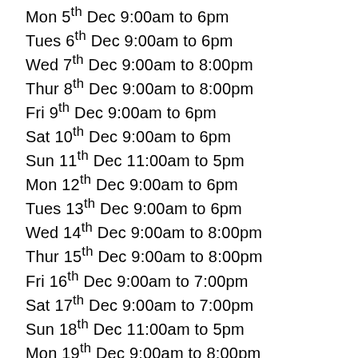Mon 5th Dec 9:00am to 6pm
Tues 6th Dec 9:00am to 6pm
Wed 7th Dec 9:00am to 8:00pm
Thur 8th Dec 9:00am to 8:00pm
Fri 9th Dec 9:00am to 6pm
Sat 10th Dec 9:00am to 6pm
Sun 11th Dec 11:00am to 5pm
Mon 12th Dec 9:00am to 6pm
Tues 13th Dec 9:00am to 6pm
Wed 14th Dec 9:00am to 8:00pm
Thur 15th Dec 9:00am to 8:00pm
Fri 16th Dec 9:00am to 7:00pm
Sat 17th Dec 9:00am to 7:00pm
Sun 18th Dec 11:00am to 5pm
Mon 19th Dec 9:00am to 8:00pm
Tue 20th Dec 9:00am to 8:00pm
Wed 21st Dec 8:00am to 8:00pm
Thur 22nd Dec 8:00am to 8:00pm
Fri 23rd Dec 9:00am to 8:00pm